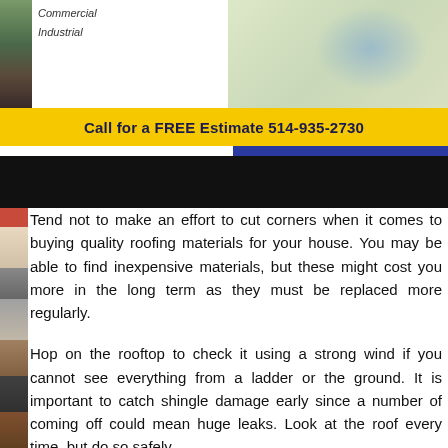[Figure (photo): Left side decorative photo strip showing roofing materials]
Commercial
Industrial
[Figure (map): Map showing service area with blue highlighted region]
Call for a FREE Estimate 514-935-2730
[Figure (photo): Black bar / redacted navigation area]
Tend not to make an effort to cut corners when it comes to buying quality roofing materials for your house. You may be able to find inexpensive materials, but these might cost you more in the long term as they must be replaced more regularly.
Hop on the rooftop to check it using a strong wind if you cannot see everything from a ladder or the ground. It is important to catch shingle damage early since a number of coming off could mean huge leaks. Look at the roof every time, but do so safely.